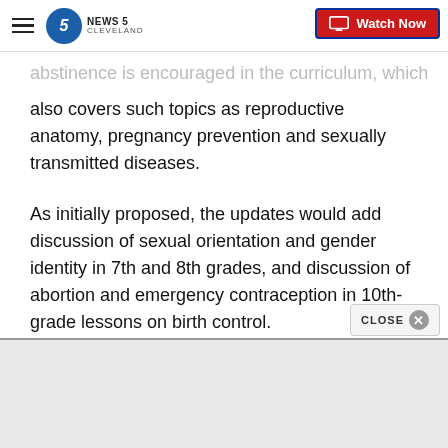NEWS 5 CLEVELAND | Watch Now
abstinence is encouraged in the curriculum, which also covers such topics as reproductive anatomy, pregnancy prevention and sexually transmitted diseases.
As initially proposed, the updates would add discussion of sexual orientation and gender identity in 7th and 8th grades, and discussion of abortion and emergency contraception in 10th-grade lessons on birth control.